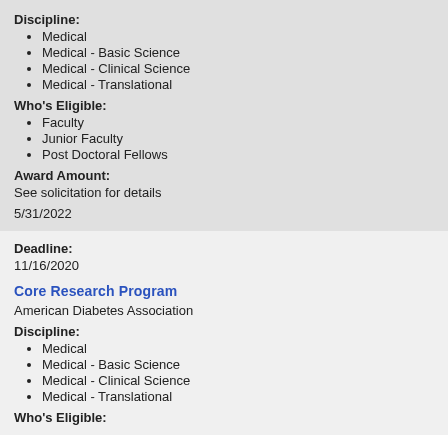Discipline:
Medical
Medical - Basic Science
Medical - Clinical Science
Medical - Translational
Who's Eligible:
Faculty
Junior Faculty
Post Doctoral Fellows
Award Amount:
See solicitation for details
5/31/2022
Deadline:
11/16/2020
Core Research Program
American Diabetes Association
Discipline:
Medical
Medical - Basic Science
Medical - Clinical Science
Medical - Translational
Who's Eligible: